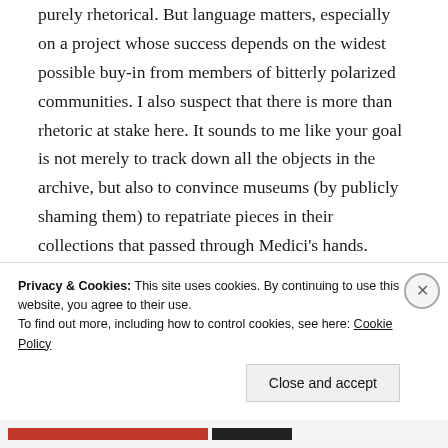purely rhetorical. But language matters, especially on a project whose success depends on the widest possible buy-in from members of bitterly polarized communities. I also suspect that there is more than rhetoric at stake here. It sounds to me like your goal is not merely to track down all the objects in the archive, but also to convince museums (by publicly shaming them) to repatriate pieces in their collections that passed through Medici's hands. (European museums' refusal to do so is the subject of David Gill's most recent post). This, I would argue, is a separate matter from the strict location
Privacy & Cookies: This site uses cookies. By continuing to use this website, you agree to their use.
To find out more, including how to control cookies, see here: Cookie Policy
Close and accept